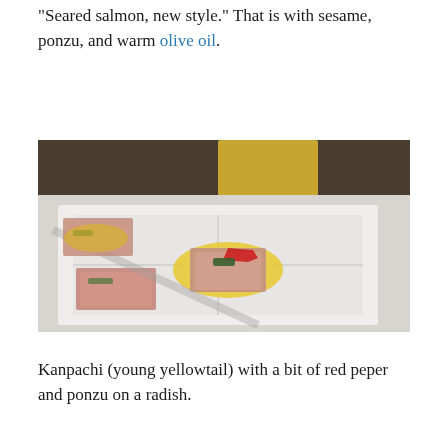"Seared salmon, new style." That is with sesame, ponzu, and warm olive oil.
[Figure (photo): Close-up photo of seared fish pieces (salmon/kanpachi) served on white square plates with yellow ponzu sauce and garnishes including red pepper and green herbs.]
Kanpachi (young yellowtail) with a bit of red peper and ponzu on a radish.